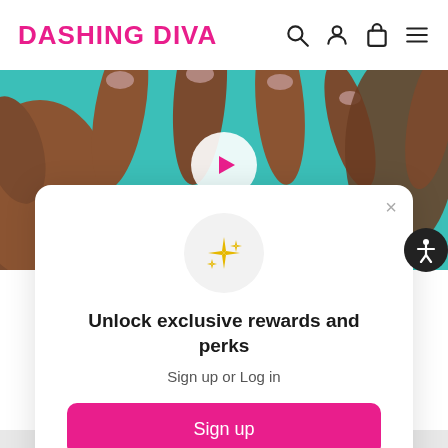DASHING DIVA
[Figure (photo): Close-up of hands with manicured nails against a teal/turquoise background, with a white circular play button overlay in the center]
Unlock exclusive rewards and perks
Sign up or Log in
Sign up
Already have an account? Sign in